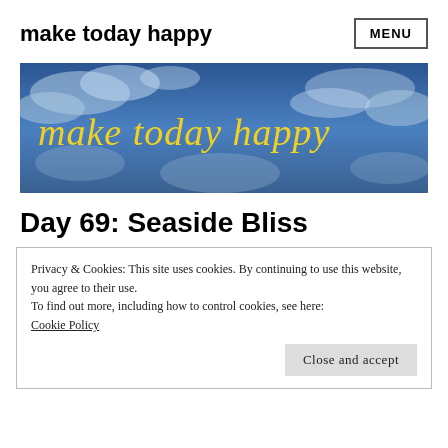make today happy  MENU
[Figure (illustration): Blue sky with clouds banner image with yellow handwritten text reading 'make today happy']
Day 69: Seaside Bliss
Privacy & Cookies: This site uses cookies. By continuing to use this website, you agree to their use.
To find out more, including how to control cookies, see here:
Cookie Policy
Close and accept